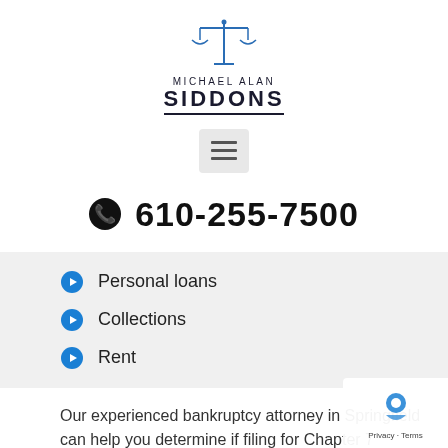[Figure (logo): Michael Alan Siddons law firm logo with scales of justice icon above the firm name]
[Figure (other): Hamburger menu button (three horizontal lines) on a light gray rounded rectangle background]
📞 610-255-7500
Personal loans
Collections
Rent
Our experienced bankruptcy attorney in Springfield can help you determine if filing for Chapter 7 bankruptcy is the correct course of action for you. We can navigate